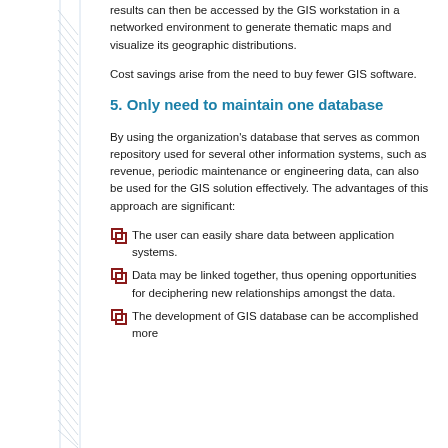results can then be accessed by the GIS workstation in a networked environment to generate thematic maps and visualize its geographic distributions.
Cost savings arise from the need to buy fewer GIS software.
5. Only need to maintain one database
By using the organization’s database that serves as common repository used for several other information systems, such as revenue, periodic maintenance or engineering data, can also be used for the GIS solution effectively. The advantages of this approach are significant:
The user can easily share data between application systems.
Data may be linked together, thus opening opportunities for deciphering new relationships amongst the data.
The development of GIS database can be accomplished more ...